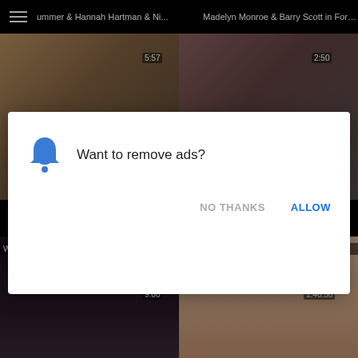[Figure (screenshot): Video thumbnail grid from adult video website showing four video thumbnails with titles and durations, overlaid by a browser notification permission dialog asking 'Want to remove ads?' with NO THANKS and ALLOW buttons.]
ummer & Hannah Hartman & Ni... 5:57
Madelyn Monroe & Barry Scott in Forni... 2:50
Wild and errotic group sex
Incredible Japanese girl Reiko Kobaya...
9:00
1:46:58
Want to remove ads?
NO THANKS
ALLOW